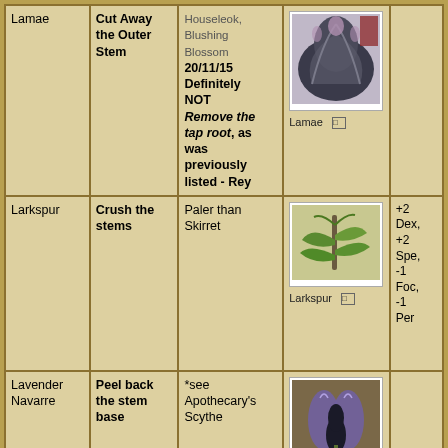| Name | Preparation | Notes/Distinguishing Features | Image | Effects |
| --- | --- | --- | --- | --- |
| Lamae | Cut Away the Outer Stem | Houseleek, Blushing Blossom 20/11/15 Definitely NOT Remove the tap root, as was previously listed - Rey | Lamae [image] |  |
| Larkspur | Crush the stems | Paler than Skirret | Larkspur [image] | +2 Dex, +2 Spe, -1 Foc, -1 Per |
| Lavender Navarre | Peel back the stem base | *see Apothecary's Scythe | Lavender [image] |  |